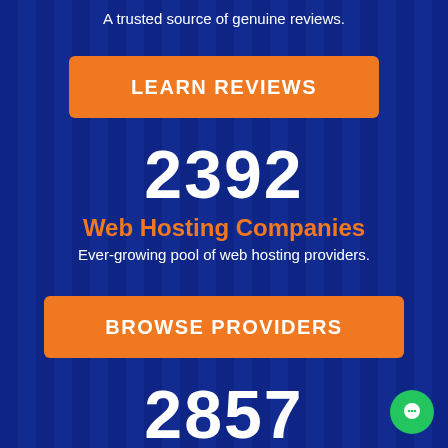A trusted source of genuine reviews.
LEARN REVIEWS
2392
Web Hosting Companies
Ever-growing pool of web hosting providers.
BROWSE PROVIDERS
2857
Web Hosting Coupons